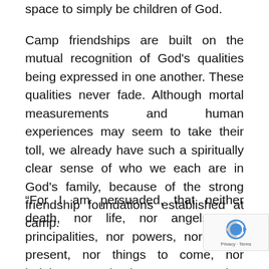space to simply be children of God.
Camp friendships are built on the mutual recognition of God's qualities being expressed in one another. These qualities never fade. Although mortal measurements and human experiences may seem to take their toll, we already have such a spiritually clear sense of who we each are in God's family, because of the strong friendship foundations established at camp.
“For I am persuaded, that neither death, nor life, nor angels, nor principalities, nor powers, nor things present, nor things to come, nor height, nor depth, nor any other creature, shall be able to separate us from the love of